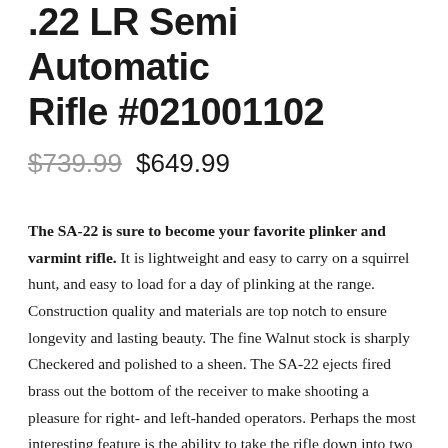.22 LR Semi Automatic Rifle #021001102
$739.99  $649.99
The SA-22 is sure to become your favorite plinker and varmint rifle. It is lightweight and easy to carry on a squirrel hunt, and easy to load for a day of plinking at the range. Construction quality and materials are top notch to ensure longevity and lasting beauty. The fine Walnut stock is sharply Checkered and polished to a sheen. The SA-22 ejects fired brass out the bottom of the receiver to make shooting a pleasure for right- and left-handed operators. Perhaps the most interesting feature is the ability to take the rifle down into two parts — the buttstock and receiver and the forearm and barrel — for storage or to simplify cleaning. A popular upgrade for